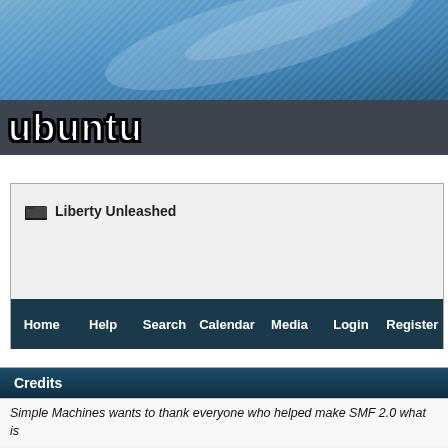[Figure (screenshot): Website header banner with blue diagonal texture/crosshatch pattern background and 'ubuntu' logo text in white with black outline at bottom left, on dark gray background]
Liberty Unleashed
Home  Help  Search  Calendar  Media  Login  Register
Credits
Simple Machines wants to thank everyone who helped make SMF 2.0 what is